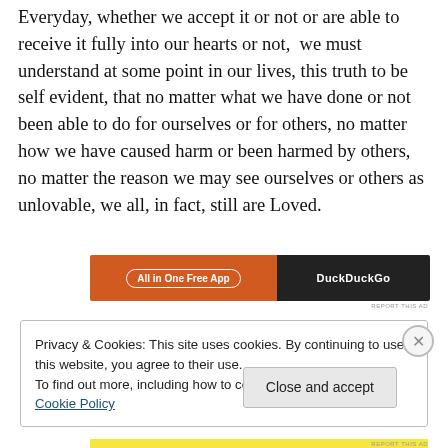Everyday, whether we accept it or not or are able to receive it fully into our hearts or not,  we must understand at some point in our lives, this truth to be self evident, that no matter what we have done or not been able to do for ourselves or for others, no matter how we have caused harm or been harmed by others, no matter the reason we may see ourselves or others as unlovable, we all, in fact, still are Loved.
[Figure (other): DuckDuckGo advertisement banner: orange left section with 'All in One Free App' button, dark right section with DuckDuckGo logo]
Privacy & Cookies: This site uses cookies. By continuing to use this website, you agree to their use.
To find out more, including how to control cookies, see here: Cookie Policy
Close and accept